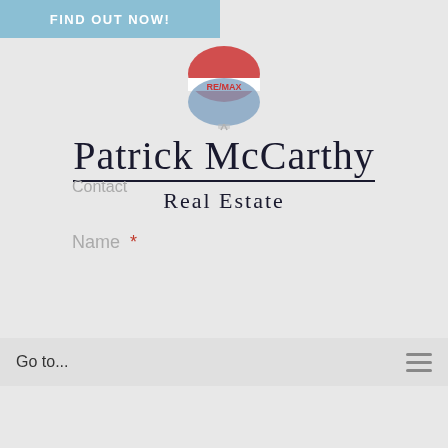[Figure (screenshot): Screenshot of a real estate website contact form for Patrick McCarthy Real Estate (RE/MAX). Shows a blue 'FIND OUT NOW!' banner at top, RE/MAX balloon logo with 'Patrick McCarthy Real Estate' branding, a navigation bar with 'Go to...' and hamburger menu, and a contact form with fields for Name (First/Last), Email, Phone, and 'How Can I Help You?']
FIND OUT NOW!
Patrick McCarthy
Real Estate
Contact
Name *
Go to...
First
Last
Email *
Phone
How Can I Help You? *